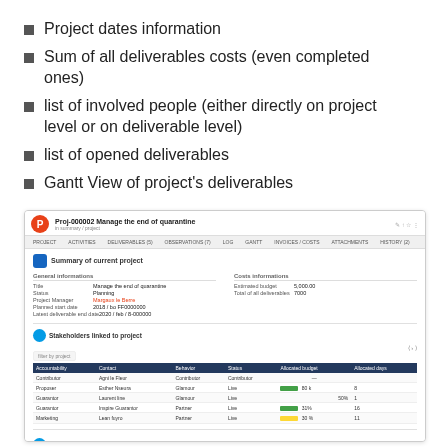Project dates information
Sum of all deliverables costs (even completed ones)
list of involved people (either directly on project level or on deliverable level)
list of opened deliverables
Gantt View of project's deliverables
[Figure (screenshot): Screenshot of a project management application showing a project summary page (Proj-000002 Manage the end of quarantine). Displays general information, costs information, stakeholders linked to project table with columns for Accountability, Contact, Behavior, Status, Allocated Budget, and Allocated Days.]